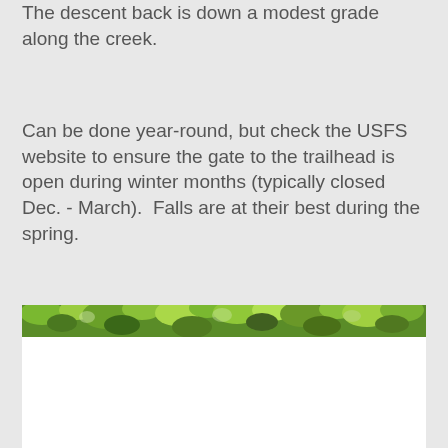The descent back is down a modest grade along the creek.
Can be done year-round, but check the USFS website to ensure the gate to the trailhead is open during winter months (typically closed Dec. - March).  Falls are at their best during the spring.
[Figure (photo): Partial photo of a forested trail scene showing green tree canopy and foliage at the top, with the lower portion showing white/bright area, cropped at the bottom of the page.]